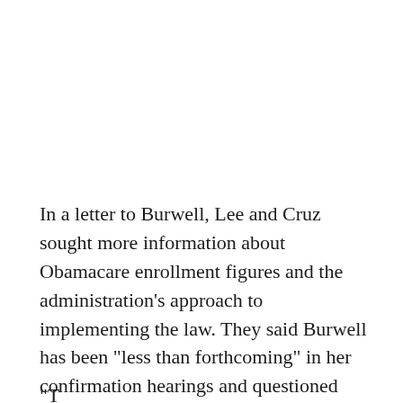In a letter to Burwell, Lee and Cruz sought more information about Obamacare enrollment figures and the administration's approach to implementing the law. They said Burwell has been "less than forthcoming" in her confirmation hearings and questioned whether she would cooperate with congressional oversight if confirmed.
"T...